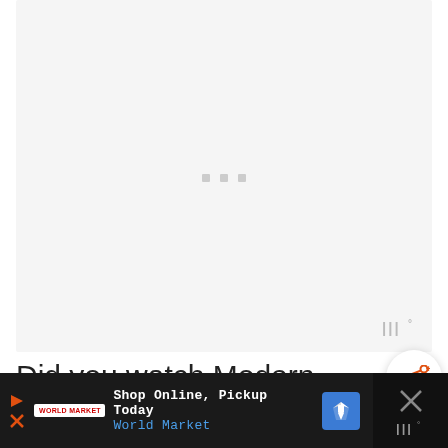[Figure (screenshot): Video player loading screen with light gray background and three small gray square dots in the center indicating loading state. A watermark-style text '|||°' appears in the bottom right corner of the video area.]
Did you watch Modern Family,
[Figure (screenshot): Share button: circular white button with an orange share icon (arrows branching out with a plus sign)]
[Figure (screenshot): Advertisement bar at bottom: 'Shop Online, Pickup Today / World Market' with play and X icons, World Market logo, and a blue map/navigation icon. Black background with a close (X) button on the right side.]